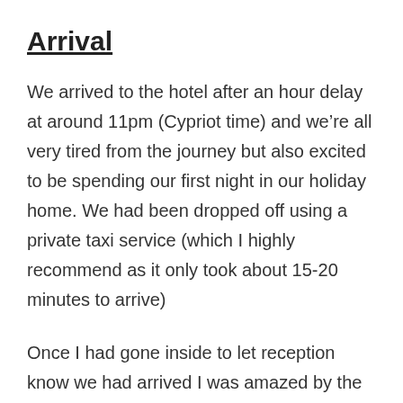Arrival
We arrived to the hotel after an hour delay at around 11pm (Cypriot time) and we’re all very tired from the journey but also excited to be spending our first night in our holiday home. We had been dropped off using a private taxi service (which I highly recommend as it only took about 15-20 minutes to arrive)
Once I had gone inside to let reception know we had arrived I was amazed by the beauty of the chandeliers, the high ceilings and the